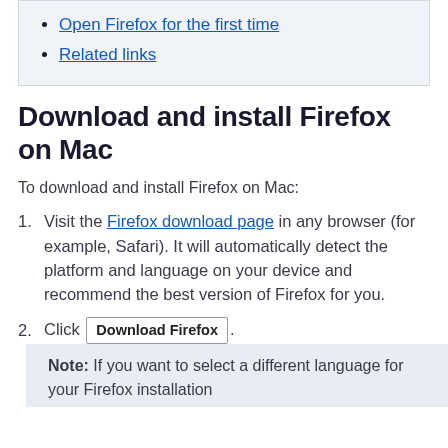Open Firefox for the first time
Related links
Download and install Firefox on Mac
To download and install Firefox on Mac:
Visit the Firefox download page in any browser (for example, Safari). It will automatically detect the platform and language on your device and recommend the best version of Firefox for you.
Click Download Firefox .
Note: If you want to select a different language for your Firefox installation